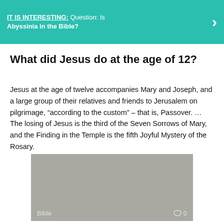IT IS INTERESTING: Question: Is Abyssinia in the Bible?
What did Jesus do at the age of 12?
Jesus at the age of twelve accompanies Mary and Joseph, and a large group of their relatives and friends to Jerusalem on pilgrimage, “according to the custom” – that is, Passover. … The losing of Jesus is the third of the Seven Sorrows of Mary, and the Finding in the Temple is the fifth Joyful Mystery of the Rosary.
[Figure (photo): Gray placeholder image block with 'Bible' label and comment icon showing 0 comments at bottom]